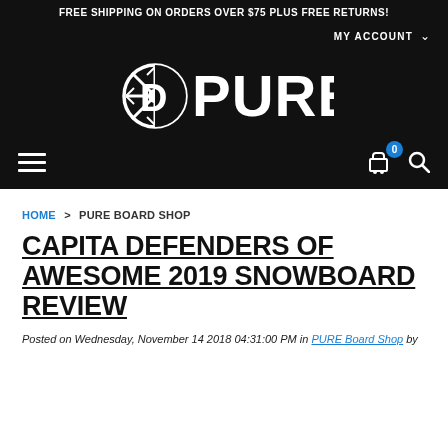FREE SHIPPING ON ORDERS OVER $75 PLUS FREE RETURNS!
MY ACCOUNT
[Figure (logo): Pure Board Shop logo — snowflake icon beside bold white text 'PURE' on black background]
Navigation bar with hamburger menu icon on left, cart icon (0 items) and search icon on right
HOME > PURE BOARD SHOP
CAPITA DEFENDERS OF AWESOME 2019 SNOWBOARD REVIEW
Posted on Wednesday, November 14 2018 04:31:00 PM in PURE Board Shop by